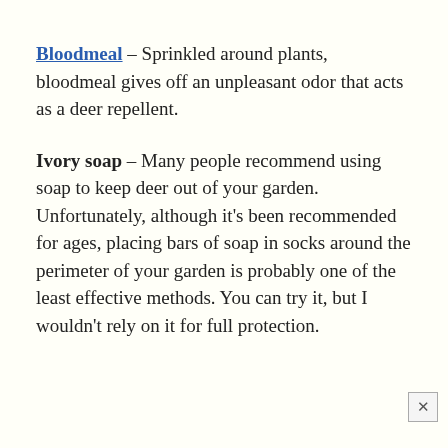Bloodmeal – Sprinkled around plants, bloodmeal gives off an unpleasant odor that acts as a deer repellent.
Ivory soap – Many people recommend using soap to keep deer out of your garden. Unfortunately, although it's been recommended for ages, placing bars of soap in socks around the perimeter of your garden is probably one of the least effective methods. You can try it, but I wouldn't rely on it for full protection.